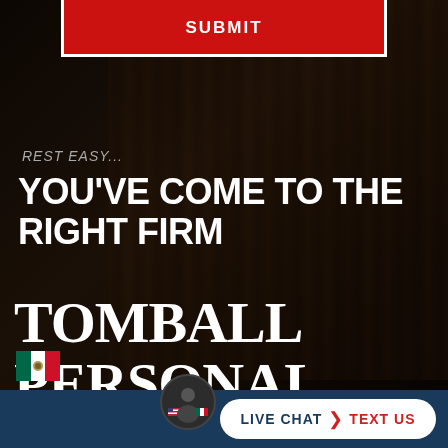[Figure (screenshot): Law firm website screenshot with dark background showing law books/library, a lawyer figure, and overlay text.]
SUBMIT
REST EASY...
YOU'VE COME TO THE RIGHT FIRM
TOMBALL PERSONAL INJURY ATTORNEY
LIVE CHAT   TEXT US